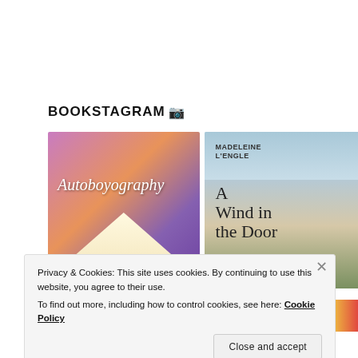BOOKSTAGRAM 📷
[Figure (photo): Photo of a hand holding 'Autoboyography' book by Christina Lauren against bookshelf background, purple/orange gradient cover]
[Figure (photo): Photo of a hand holding 'A Wind in the Door' by Madeleine L'Engle book against bookshelf background, cream cover with birds]
Privacy & Cookies: This site uses cookies. By continuing to use this website, you agree to their use.
To find out more, including how to control cookies, see here: Cookie Policy
Close and accept